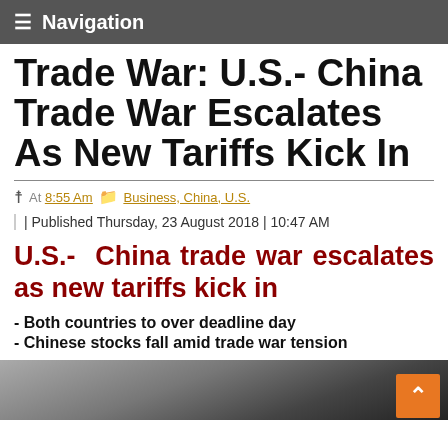≡ Navigation
Trade War: U.S.- China Trade War Escalates As New Tariffs Kick In
At 8:55 Am   Business, China, U.S.
| Published Thursday, 23 August 2018 | 10:47 AM
U.S.- China trade war escalates as new tariffs kick in
- Both countries to over deadline day
- Chinese stocks fall amid trade war tension
[Figure (photo): Dark image of train tracks or industrial scene, partially visible at bottom of page]